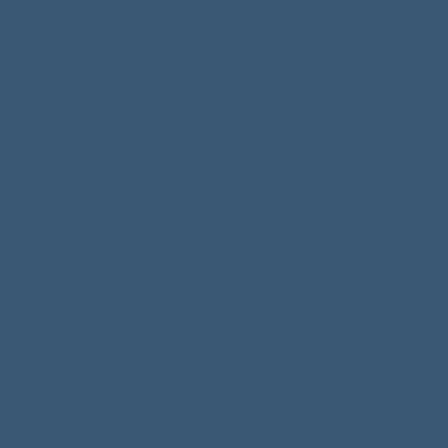| Result |
| Analyte |
| Specification |
| Parameter |
| Unit |
| Result |
| Analyte |
| Specification |
| Parameter |
| Unit |
| Result |
| Analyte |
| Specification |
| Parameter |
| Unit |
| Result |
| Analyte |
| Specification |
| Parameter |